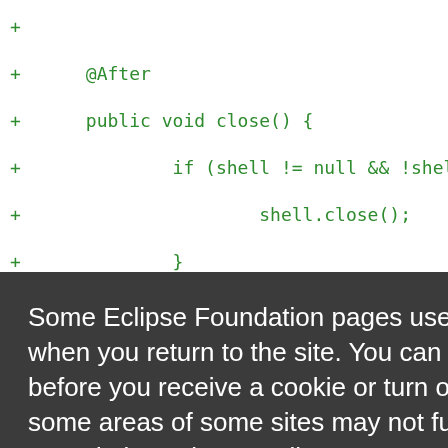[Figure (screenshot): Screenshot of a code diff (green monospace text on white background) showing Java code lines with @After annotation and close() method, overlaid by a dark cookie consent banner popup. The banner reads: 'Some Eclipse Foundation pages use cookies to better serve you when you return to the site. You can set your browser to notify you before you receive a cookie or turn off cookies. If you do so, however, some areas of some sites may not function properly. To read Eclipse Foundation Privacy Policy click here.' with 'Decline' and 'Allow cookies' buttons.]